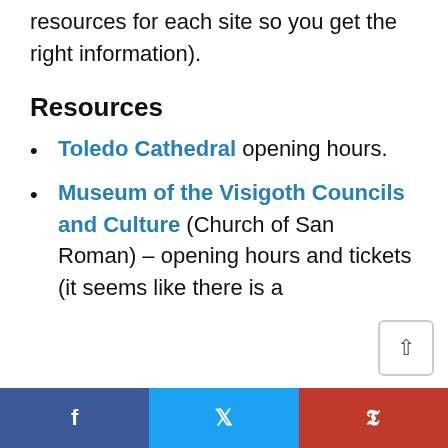resources for each site so you get the right information).
Resources
Toledo Cathedral opening hours.
Museum of the Visigoth Councils and Culture (Church of San Roman) – opening hours and tickets (it seems like there is a
f   t   P